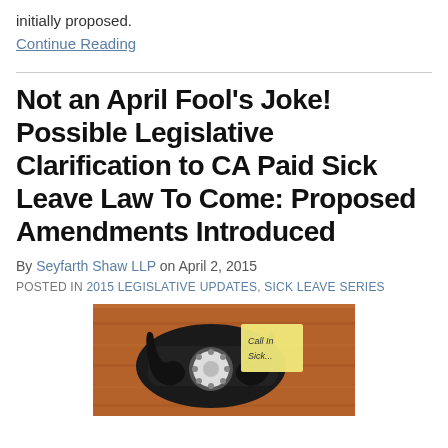initially proposed.
Continue Reading
Not an April Fool's Joke! Possible Legislative Clarification to CA Paid Sick Leave Law To Come: Proposed Amendments Introduced
By Seyfarth Shaw LLP on April 2, 2015
POSTED IN 2015 LEGISLATIVE UPDATES, SICK LEAVE SERIES
[Figure (photo): A black rotary telephone on a wooden surface with a sticky note that reads 'Call In Sick...']